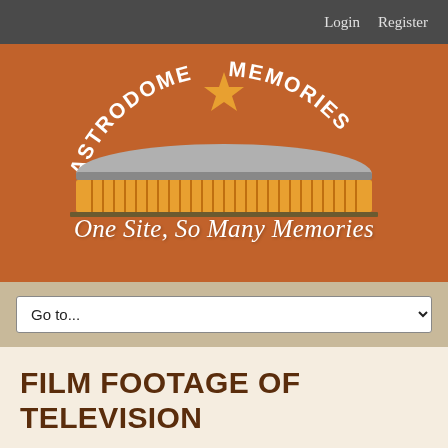Login   Register
[Figure (illustration): Astrodome Memories website header banner. Features an illustrated Astrodome stadium building with orange/yellow color scheme, the text 'ASTRODOME MEMORIES' in an arc above the dome with a star between the two words, on a burnt orange background. Below the dome illustration is the tagline 'One Site, So Many Memories' in white italic script.]
Go to...
FILM FOOTAGE OF TELEVISION NEWS SEGMENTS FROM NOVEMBER, 1962 INCLUDING AN